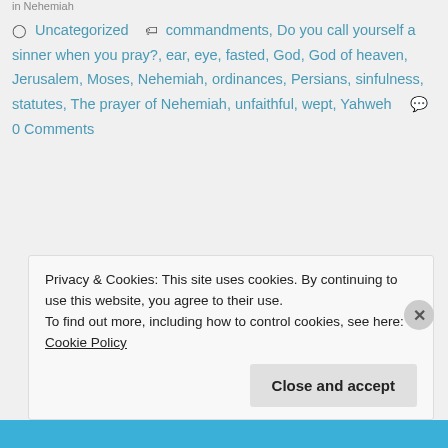in Nehemiah
Uncategorized  commandments, Do you call yourself a sinner when you pray?, ear, eye, fasted, God, God of heaven, Jerusalem, Moses, Nehemiah, ordinances, Persians, sinfulness, statutes, The prayer of Nehemiah, unfaithful, wept, Yahweh  0 Comments
Privacy & Cookies: This site uses cookies. By continuing to use this website, you agree to their use.
To find out more, including how to control cookies, see here: Cookie Policy
Close and accept